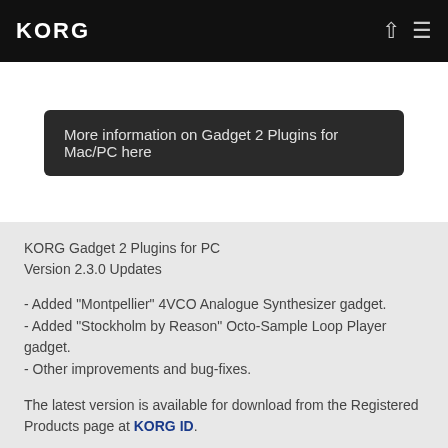KORG
More information on Gadget 2 Plugins for Mac/PC here
KORG Gadget 2 Plugins for PC
Version 2.3.0 Updates
- Added "Montpellier" 4VCO Analogue Synthesizer gadget.
- Added "Stockholm by Reason" Octo-Sample Loop Player gadget.
- Other improvements and bug-fixes.
The latest version is available for download from the Registered Products page at KORG ID.